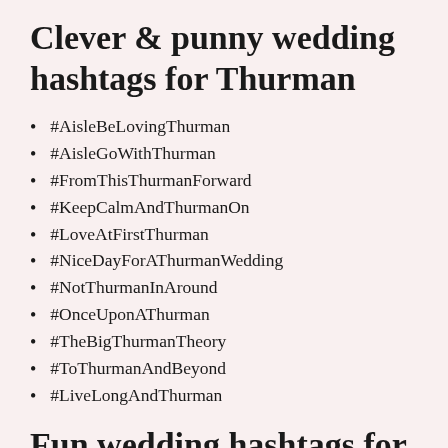Clever & punny wedding hashtags for Thurman
#AisleBeLovingThurman
#AisleGoWithThurman
#FromThisThurmanForward
#KeepCalmAndThurmanOn
#LoveAtFirstThurman
#NiceDayForAThurmanWedding
#NotThurmanInAround
#OnceUponAThurman
#TheBigThurmanTheory
#ToThurmanAndBeyond
#LiveLongAndThurman
Fun wedding hashtags for